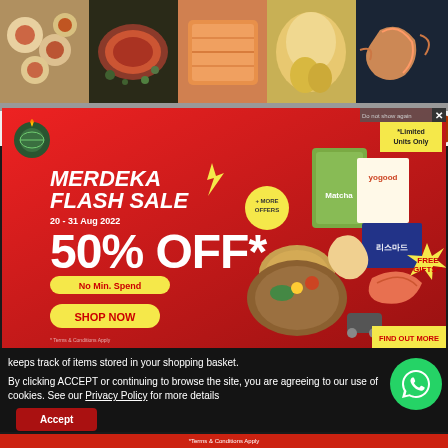[Figure (photo): Collage of food images: scallops, meat with herbs, salmon, whole chicken, shrimp on dark backgrounds]
[Figure (infographic): Merdeka Flash Sale popup advertisement on red background: 50% OFF*, No Min. Spend, 20-31 Aug 2022, Free Gifts**, Shop Now button, Find Out More button, Limited Units Only badge, farm-to-table logo]
keeps track of items stored in your shopping basket.
By clicking ACCEPT or continuing to browse the site, you are agreeing to our use of cookies. See our Privacy Policy for more details
Accept